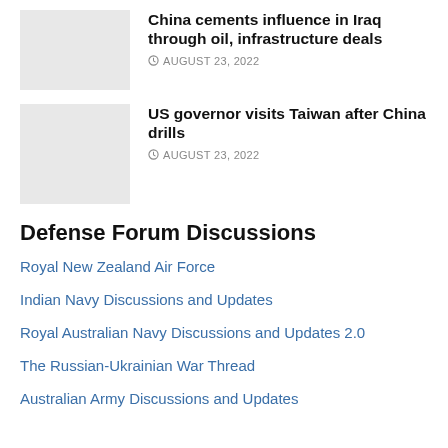[Figure (photo): Thumbnail image placeholder for China/Iraq article]
China cements influence in Iraq through oil, infrastructure deals
AUGUST 23, 2022
[Figure (photo): Thumbnail image placeholder for Taiwan article]
US governor visits Taiwan after China drills
AUGUST 23, 2022
Defense Forum Discussions
Royal New Zealand Air Force
Indian Navy Discussions and Updates
Royal Australian Navy Discussions and Updates 2.0
The Russian-Ukrainian War Thread
Australian Army Discussions and Updates